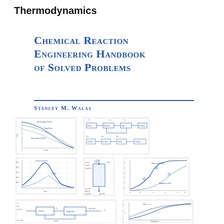Thermodynamics
Chemical Reaction Engineering Handbook of Solved Problems
Stanley M. Walas
[Figure (illustration): Collection of engineering diagrams and charts from the book including line graphs showing conversion vs time, concentration vs residence time, block flow diagrams, reactor schematics, and equilibrium curves]